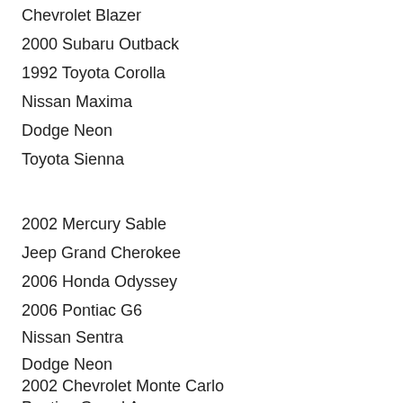Chevrolet Blazer
2000 Subaru Outback
1992 Toyota Corolla
Nissan Maxima
Dodge Neon
Toyota Sienna
2002 Mercury Sable
Jeep Grand Cherokee
2006 Honda Odyssey
2006 Pontiac G6
Nissan Sentra
Dodge Neon
2002 Chevrolet Monte Carlo
Pontiac Grand Am